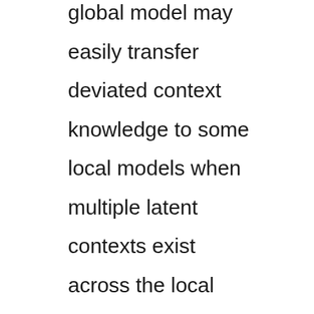global model may easily transfer deviated context knowledge to some local models when multiple latent contexts exist across the local datasets. In this paper, we propose a novel concept called contextualized generalization (CG) to provide each client with fine-grained context knowledge that can better fit the local data distributions